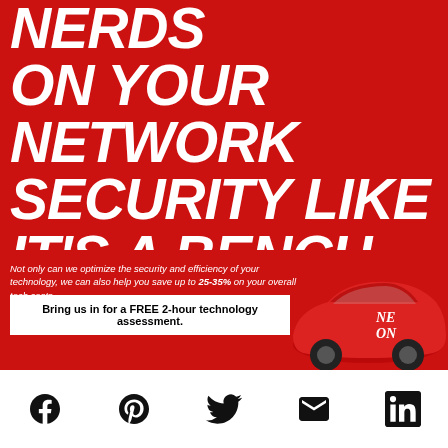NERDS ON YOUR NETWORK SECURITY LIKE IT'S A BENCH IN GYM CLASS.
Does your business need a dedicated I.T. team? Get our Nerds on it.
Not only can we optimize the security and efficiency of your technology, we can also help you save up to 25-35% on your overall tech costs.
Bring us in for a FREE 2-hour technology assessment.
[Figure (illustration): Red Volkswagen Beetle car with Nerds On Call branding visible on the side]
[Figure (infographic): Social media share icons row: Facebook, Pinterest, Twitter, Email, LinkedIn]